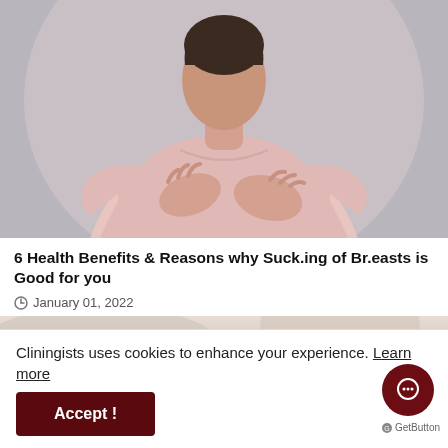[Figure (photo): Woman in pink t-shirt with hands on chest, gray background]
6 Health Benefits & Reasons why Suck.ing of Br.easts is Good for you
January 01, 2022
[Figure (photo): Partial view of a second article image, beige/cream tones]
Cliningists uses cookies to enhance your experience. Learn more
Accept!